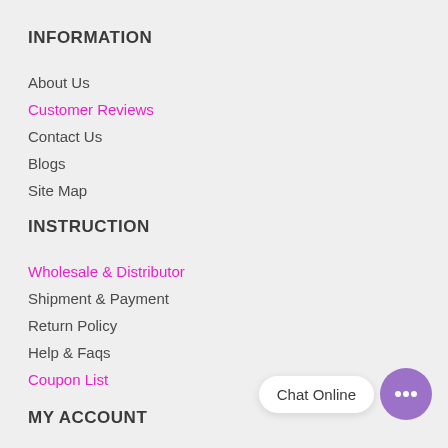INFORMATION
About Us
Customer Reviews
Contact Us
Blogs
Site Map
INSTRUCTION
Wholesale & Distributor
Shipment & Payment
Return Policy
Help & Faqs
Coupon List
MY ACCOUNT
My Account
[Figure (other): Chat Online widget with purple speech bubble icon]